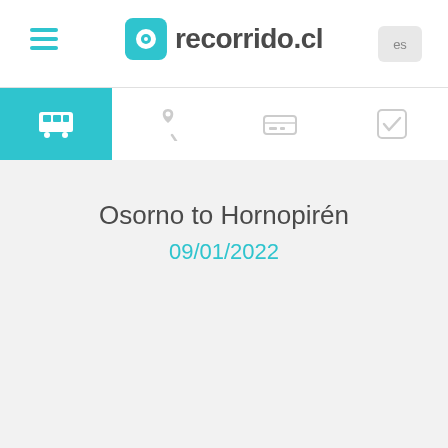recorrido.cl
Osorno to Hornopirén
09/01/2022